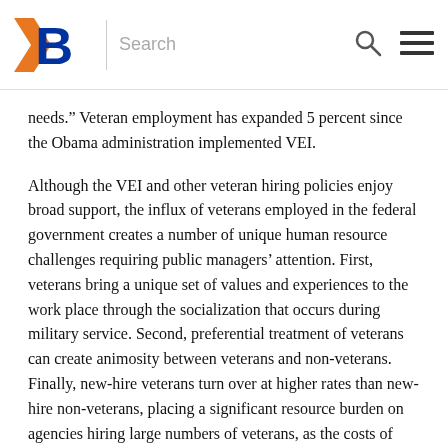Boise State University — Search
needs.” Veteran employment has expanded 5 percent since the Obama administration implemented VEI.
Although the VEI and other veteran hiring policies enjoy broad support, the influx of veterans employed in the federal government creates a number of unique human resource challenges requiring public managers’ attention. First, veterans bring a unique set of values and experiences to the work place through the socialization that occurs during military service. Second, preferential treatment of veterans can create animosity between veterans and non-veterans. Finally, new-hire veterans turn over at higher rates than new-hire non-veterans, placing a significant resource burden on agencies hiring large numbers of veterans, as the costs of replacing a federal employee are quite